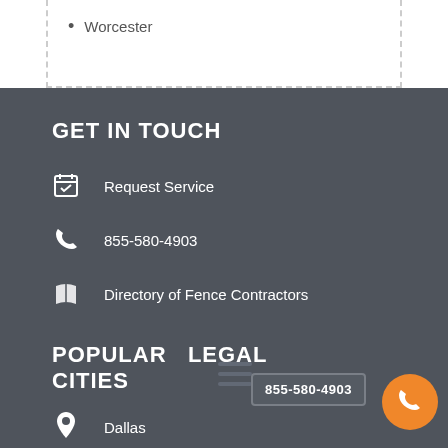Worcester
GET IN TOUCH
Request Service
855-580-4903
Directory of Fence Contractors
POPULAR LEGAL CITIES
Dallas
Las Vegas
Chicago
855-580-4903